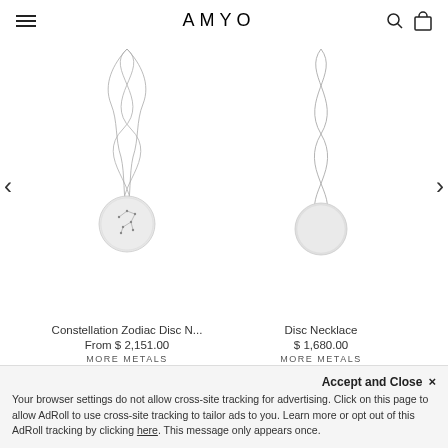AMYO
[Figure (photo): Constellation Zodiac Disc Necklace - silver disc pendant with star constellation design on a delicate chain]
Constellation Zodiac Disc N...
From $ 2,151.00
MORE METALS
[Figure (photo): Disc Necklace - plain silver disc pendant on a delicate chain]
Disc Necklace
$ 1,680.00
MORE METALS
Accept and Close ✕
Your browser settings do not allow cross-site tracking for advertising. Click on this page to allow AdRoll to use cross-site tracking to tailor ads to you. Learn more or opt out of this AdRoll tracking by clicking here. This message only appears once.